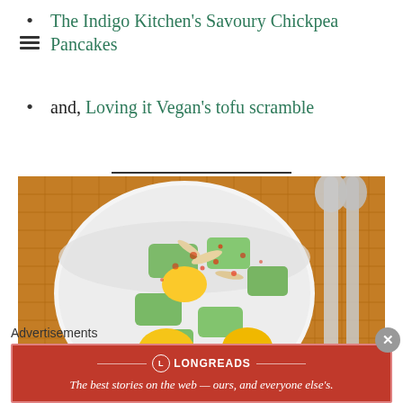The Indigo Kitchen's Savoury Chickpea Pancakes
and, Loving it Vegan's tofu scramble
[Figure (photo): A white bowl filled with Indian fruit salad—chunks of cucumber, mango, and other fruits topped with red spice powder and sliced almonds, on an orange woven mat with silverware visible on the right.]
One Green Planet's Indian fruit salad
Advertisements
[Figure (other): Longreads advertisement banner: red background with Longreads logo and text 'The best stories on the web — ours, and everyone else's.']